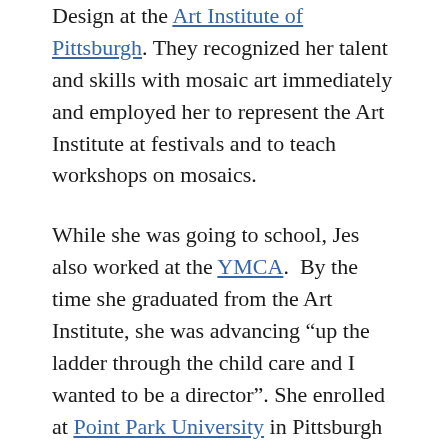Design at the Art Institute of Pittsburgh. They recognized her talent and skills with mosaic art immediately and employed her to represent the Art Institute at festivals and to teach workshops on mosaics.
While she was going to school, Jes also worked at the YMCA. By the time she graduated from the Art Institute, she was advancing “up the ladder through the child care and I wanted to be a director”. She enrolled at Point Park University in Pittsburgh to get the necessary credits for that position. She majored in Art History and Child Development and graduated with a Bachelor of Arts in Design & Applied Arts.